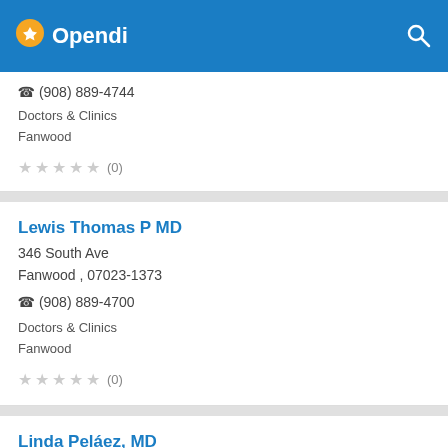Opendi
(908) 889-4744
Doctors & Clinics
Fanwood
★★★★★ (0)
Lewis Thomas P MD
346 South Ave
Fanwood , 07023-1373
(908) 889-4700
Doctors & Clinics
Fanwood
★★★★★ (0)
Linda Peláez, MD
8 Mountain Boulevard